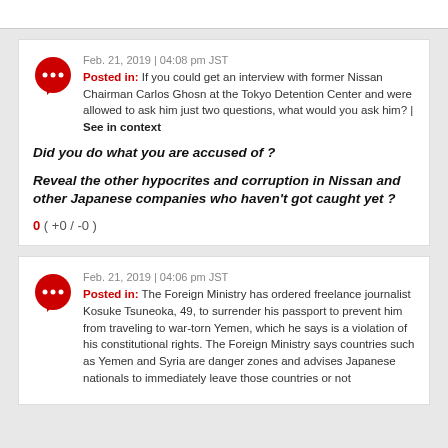Feb. 21, 2019 | 04:08 pm JST
Posted in: If you could get an interview with former Nissan Chairman Carlos Ghosn at the Tokyo Detention Center and were allowed to ask him just two questions, what would you ask him? | See in context
Did you do what you are accused of ?
Reveal the other hypocrites and corruption in Nissan and other Japanese companies who haven't got caught yet ?
0 ( +0 / -0 )
Feb. 21, 2019 | 04:06 pm JST
Posted in: The Foreign Ministry has ordered freelance journalist Kosuke Tsuneoka, 49, to surrender his passport to prevent him from traveling to war-torn Yemen, which he says is a violation of his constitutional rights. The Foreign Ministry says countries such as Yemen and Syria are danger zones and advises Japanese nationals to immediately leave those countries or not